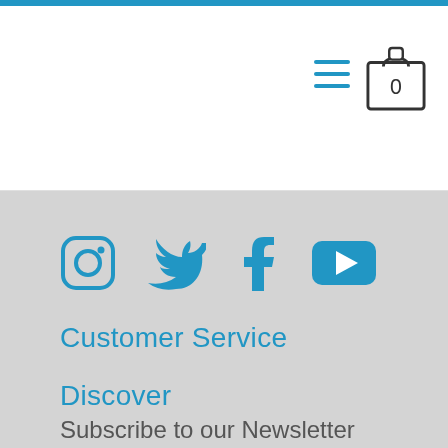Navigation header with hamburger menu and cart (0 items)
[Figure (infographic): Social media icons row: Instagram, Twitter, Facebook, YouTube in blue on gray background]
Customer Service
Discover
Subscribe to our Newsletter